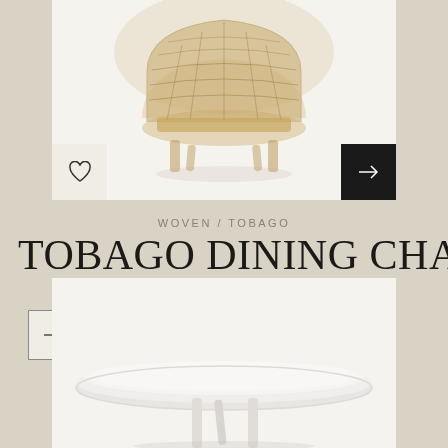[Figure (photo): Woven rattan/wicker dining chair (Tobago) shown from front, on white background, inside a cream-colored product card. A heart/wishlist button is in the lower left and a dark arrow button is in the lower right.]
WOVEN / TOBAGO
TOBAGO DINING CHAIR
[Figure (photo): White round side table with thin legs, shown from front against white background, partially cropped at bottom of page.]